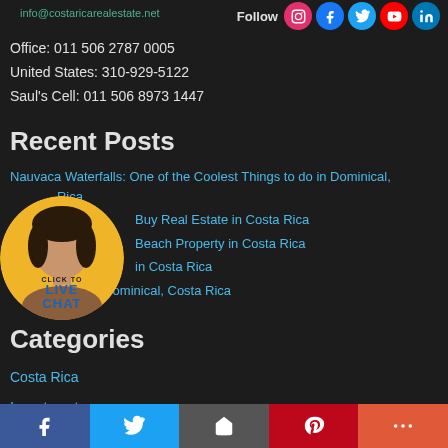info@costaricarealestate.net
Follow
Office: 011 506 2787 0005
United States: 310-929-5122
Saul's Cell: 011 506 8973 1447
Recent Posts
Nauvaca Waterfalls: One of the Coolest Things to do in Dominical, Costa Rica
Buy Real Estate in Costa Rica
Beach Property in Costa Rica
in Costa Rica
Where to Eat in Dominical, Costa Rica
[Figure (photo): Live chat widget with woman's face and CLICK TO LIVE CHAT text]
Categories
Costa Rica
Investments
News
Facebook | Twitter | Email | Pinterest | More